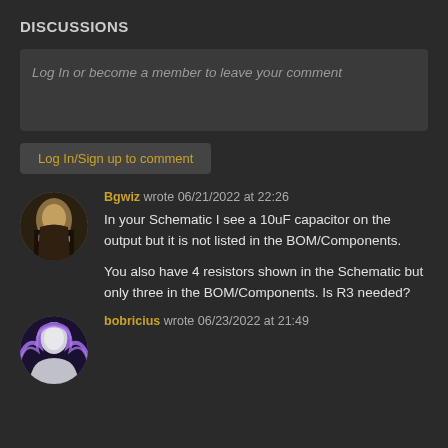DISCUSSIONS
Log In or become a member to leave your comment
Log In/Sign up to comment
Bgwiz wrote 06/21/2022 at 22:26
In your Schematic I see a 10uF capacitor on the output but it is not listed in the BOM/Components.

You also have 4 resistors shown in the Schematic but only three in the BOM/Components.  Is R3 needed?
bobricius wrote 06/23/2022 at 21:49